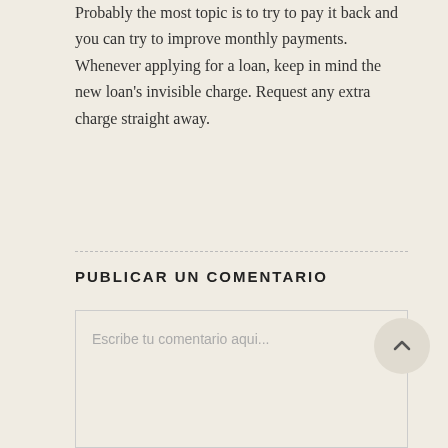Probably the most topic is to try to pay it back and you can try to improve monthly payments. Whenever applying for a loan, keep in mind the new loan's invisible charge. Request any extra charge straight away.
PUBLICAR UN COMENTARIO
Escribe tu comentario aqui...